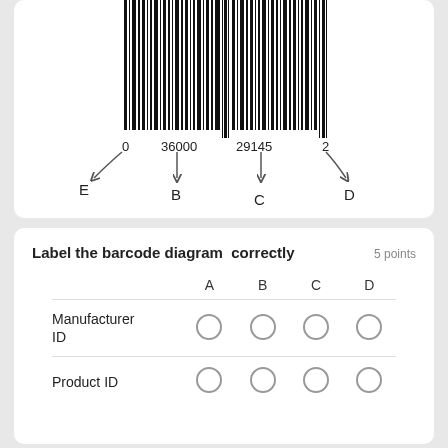[Figure (schematic): Barcode diagram with labels E, B, C, D pointing to parts: 0 36000 29145 2, with curved arrows from letters to digit groups below the barcode bars]
Label the barcode diagram  correctly    5 points
|  | A | B | C | D |
| --- | --- | --- | --- | --- |
| Manufacturer ID | ○ | ○ | ○ | ○ |
| Product ID | ○ | ○ | ○ | ○ |